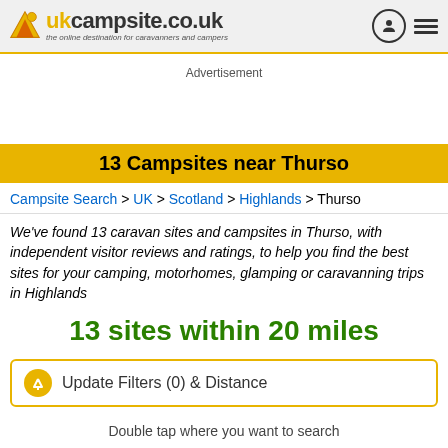ukcampsite.co.uk — the online destination for caravanners and campers
Advertisement
13 Campsites near Thurso
Campsite Search > UK > Scotland > Highlands > Thurso
We've found 13 caravan sites and campsites in Thurso, with independent visitor reviews and ratings, to help you find the best sites for your camping, motorhomes, glamping or caravanning trips in Highlands
13 sites within 20 miles
Update Filters (0) & Distance
Double tap where you want to search